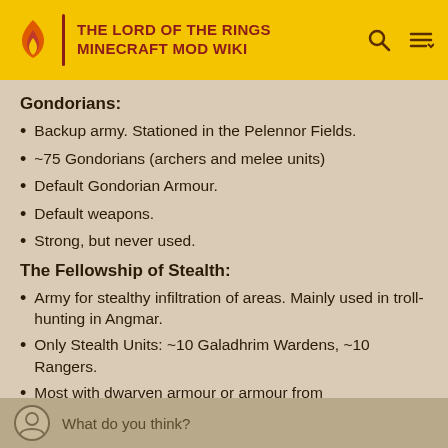THE LORD OF THE RINGS MINECRAFT MOD WIKI
Gondorians:
Backup army. Stationed in the Pelennor Fields.
~75 Gondorians (archers and melee units)
Default Gondorian Armour.
Default weapons.
Strong, but never used.
The Fellowship of Stealth:
Army for stealthy infiltration of areas. Mainly used in troll-hunting in Angmar.
Only Stealth Units: ~10 Galadhrim Wardens, ~10 Rangers.
Most with dwarven armour or armour from
What do you think?